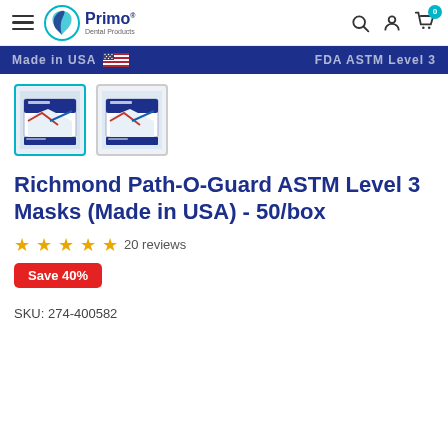Primo Dental Products
[Figure (screenshot): Blue banner with 'Made in USA' text and USA flag icon and 'FDA ASTM Level 3' text]
[Figure (photo): Two product thumbnail images of Richmond Path-O-Guard mask boxes, first selected with teal border]
Richmond Path-O-Guard ASTM Level 3 Masks (Made in USA) - 50/box
★★★★★ 20 reviews
Save 40%
SKU: 274-400582